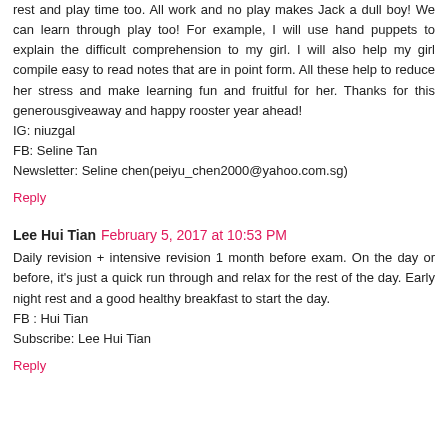rest and play time too. All work and no play makes Jack a dull boy! We can learn through play too! For example, I will use hand puppets to explain the difficult comprehension to my girl. I will also help my girl compile easy to read notes that are in point form. All these help to reduce her stress and make learning fun and fruitful for her. Thanks for this generousgiveaway and happy rooster year ahead!
IG: niuzgal
FB: Seline Tan
Newsletter: Seline chen(peiyu_chen2000@yahoo.com.sg)
Reply
Lee Hui Tian  February 5, 2017 at 10:53 PM
Daily revision + intensive revision 1 month before exam. On the day or before, it's just a quick run through and relax for the rest of the day. Early night rest and a good healthy breakfast to start the day.
FB : Hui Tian
Subscribe: Lee Hui Tian
Reply